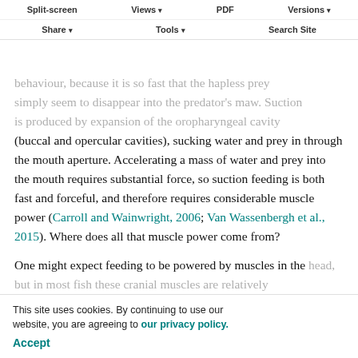Split-screen | Views | PDF | Versions | Share | Tools | Search Site
behaviour, because it is so fast that the hapless prey simply seem to disappear into the predator's maw. Suction is produced by expansion of the oropharyngeal cavity (buccal and opercular cavities), sucking water and prey in through the mouth aperture. Accelerating a mass of water and prey into the mouth requires substantial force, so suction feeding is both fast and forceful, and therefore requires considerable muscle power (Carroll and Wainwright, 2006; Van Wassenbergh et al., 2015). Where does all that muscle power come from?
One might expect feeding to be powered by muscles in the head, but in most fish these cranial muscles are relatively small and generate far less power than is required for suction feeding. It has been recognized that the epaxial and hypaxial body muscles immediately behind the head
This site uses cookies. By continuing to use our website, you are agreeing to our privacy policy. Accept